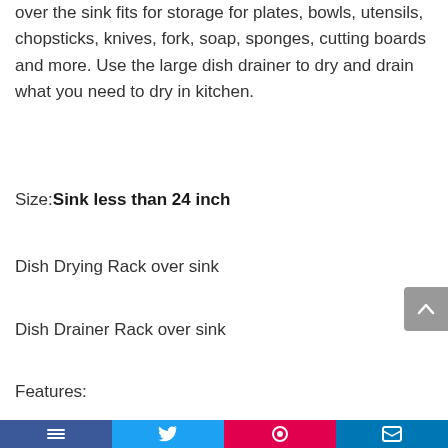over the sink fits for storage for plates, bowls, utensils, chopsticks, knives, fork, soap, sponges, cutting boards and more. Use the large dish drainer to dry and drain what you need to dry in kitchen.
Size: Sink less than 24 inch
Dish Drying Rack over sink
Dish Drainer Rack over sink
Features: